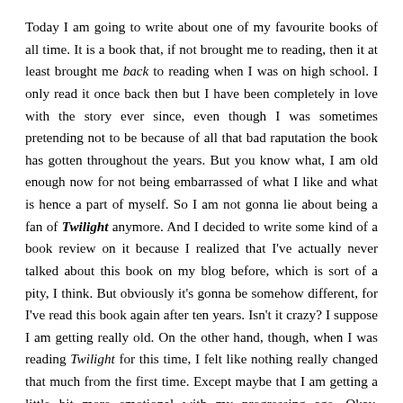Today I am going to write about one of my favourite books of all time. It is a book that, if not brought me to reading, then it at least brought me back to reading when I was on high school. I only read it once back then but I have been completely in love with the story ever since, even though I was sometimes pretending not to be because of all that bad raputation the book has gotten throughout the years. But you know what, I am old enough now for not being embarrassed of what I like and what is hence a part of myself. So I am not gonna lie about being a fan of Twilight anymore. And I decided to write some kind of a book review on it because I realized that I've actually never talked about this book on my blog before, which is sort of a pity, I think. But obviously it's gonna be somehow different, for I've read this book again after ten years. Isn't it crazy? I suppose I am getting really old. On the other hand, though, when I was reading Twilight for this time, I felt like nothing really changed that much from the first time. Except maybe that I am getting a little bit more emotional with my progressing age. Okay, seriously now, I've picked up this book just to relax a little bit. I wasn't expecting